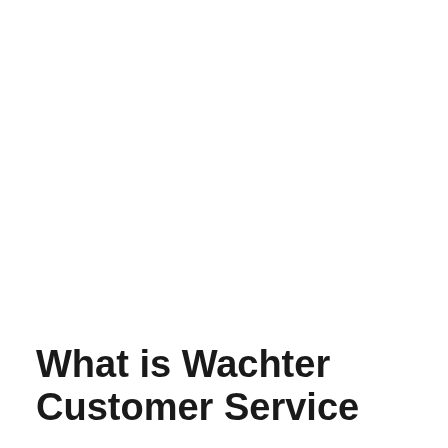What is Wachter Customer Service